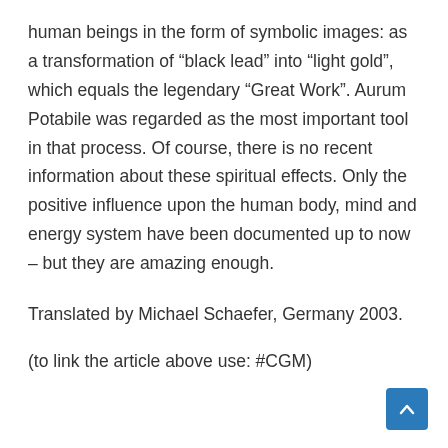human beings in the form of symbolic images: as a transformation of “black lead” into “light gold”, which equals the legendary “Great Work”. Aurum Potabile was regarded as the most important tool in that process. Of course, there is no recent information about these spiritual effects. Only the positive influence upon the human body, mind and energy system have been documented up to now – but they are amazing enough.
Translated by Michael Schaefer, Germany 2003.
(to link the article above use: #CGM)
[Figure (other): Blue rounded-square scroll-to-top button with a white upward chevron arrow]